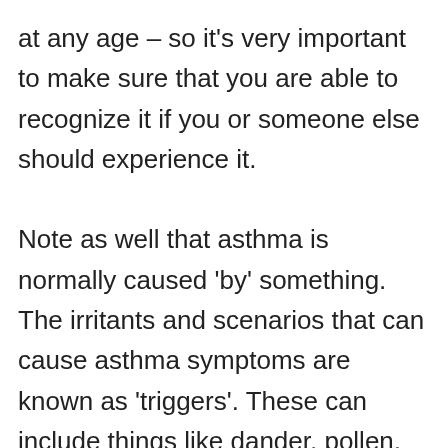at any age – so it's very important to make sure that you are able to recognize it if you or someone else should experience it.

Note as well that asthma is normally caused 'by' something. The irritants and scenarios that can cause asthma symptoms are known as 'triggers'. These can include things like dander, pollen, mold, moisture in the air, or even stress